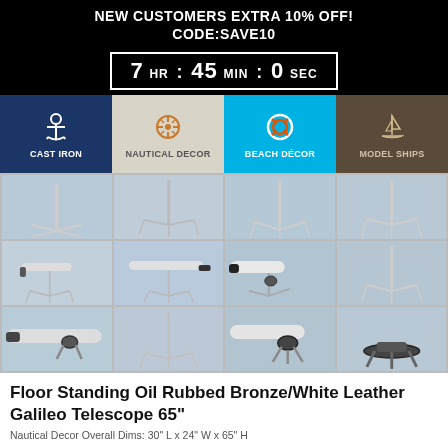NEW CUSTOMERS EXTRA 10% OFF!
CODE:SAVE10
7 HR : 45 MIN : 0 SEC
[Figure (infographic): Navigation bar with four category icons: Cast Iron (anchor on dark blue), Nautical Decor (ship wheel on tan), Beach Decor (life ring on cyan), Model Ships (sailboat on brown)]
[Figure (photo): 3x4 grid of product photos showing a floor standing telescope on tripod from various angles]
Floor Standing Oil Rubbed Bronze/White Leather Galileo Telescope 65"
Nautical Decor Overall Dims: 30" L x 24" W x 65" H
✔ In stock - Usually ships the next day
|  |  |
| --- | --- |
| MSRP: | $1349.99 |
| Your Price: | $299.99 |